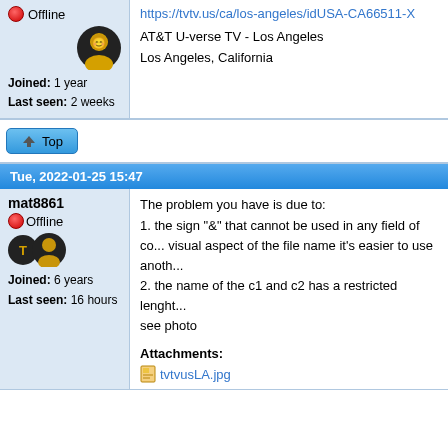https://tvtv.us/ca/los-angeles/idUSA-CA66511-X
AT&T U-verse TV - Los Angeles
Los Angeles, California
Offline
Joined: 1 year
Last seen: 2 weeks
↑ Top
Tue, 2022-01-25 15:47
mat8861
Offline
Joined: 6 years
Last seen: 16 hours
The problem you have is due to:
1. the sign "&" that cannot be used in any field of co... visual aspect of the file name it's easier to use anoth...
2. the name of the c1 and c2 has a restricted lenght...
see photo
Attachments:
tvtvusLA.jpg